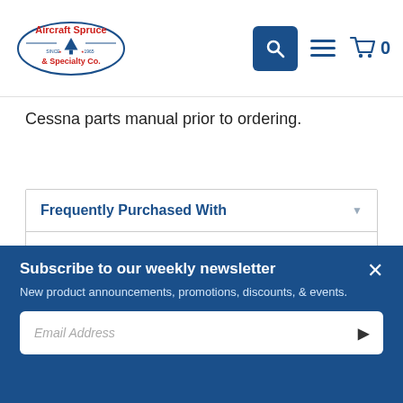Aircraft Spruce & Specialty Co.
Cessna parts manual prior to ordering.
Frequently Purchased With
[Figure (photo): Dark foam rubber block/pad product photo on white background]
Subscribe to our weekly newsletter
New product announcements, promotions, discounts, & events.